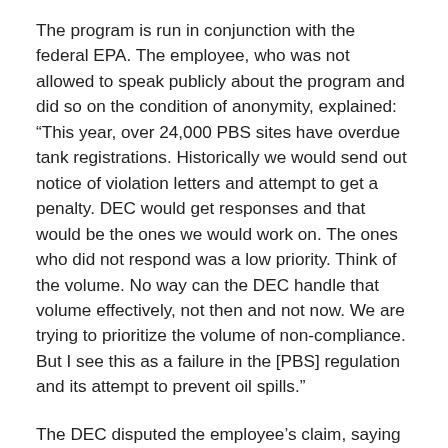The program is run in conjunction with the federal EPA. The employee, who was not allowed to speak publicly about the program and did so on the condition of anonymity, explained: “This year, over 24,000 PBS sites have overdue tank registrations. Historically we would send out notice of violation letters and attempt to get a penalty. DEC would get responses and that would be the ones we would work on. The ones who did not respond was a low priority. Think of the volume. No way can the DEC handle that volume effectively, not then and not now. We are trying to prioritize the volume of non-compliance. But I see this as a failure in the [PBS] regulation and its attempt to prevent oil spills.”
The DEC disputed the employee’s claim, saying that only 4,600 PBS registrations were more than 90 days overdue. Fewer than 600 are less than 90 days overdue. The DEC said most of the overdue registrations were heating oil tanks, “which are generally overdue because